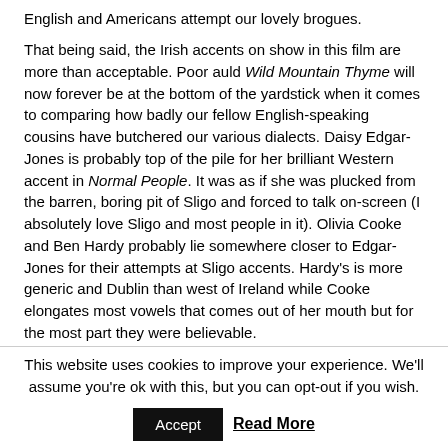English and Americans attempt our lovely brogues.
That being said, the Irish accents on show in this film are more than acceptable. Poor auld Wild Mountain Thyme will now forever be at the bottom of the yardstick when it comes to comparing how badly our fellow English-speaking cousins have butchered our various dialects. Daisy Edgar-Jones is probably top of the pile for her brilliant Western accent in Normal People. It was as if she was plucked from the barren, boring pit of Sligo and forced to talk on-screen (I absolutely love Sligo and most people in it). Olivia Cooke and Ben Hardy probably lie somewhere closer to Edgar-Jones for their attempts at Sligo accents. Hardy's is more generic and Dublin than west of Ireland while Cooke elongates most vowels that comes out of her mouth but for the most part they were believable.
This website uses cookies to improve your experience. We'll assume you're ok with this, but you can opt-out if you wish.